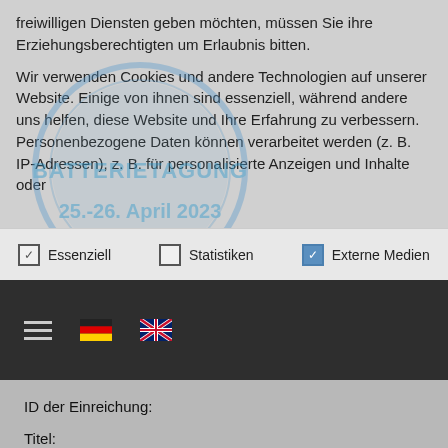freiwilligen Diensten geben möchten, müssen Sie ihre Erziehungsberechtigten um Erlaubnis bitten.
Wir verwenden Cookies und andere Technologien auf unserer Website. Einige von ihnen sind essenziell, während andere uns helfen, diese Website und Ihre Erfahrung zu verbessern. Personenbezogene Daten können verarbeitet werden (z. B. IP-Adressen), z. B. für personalisierte Anzeigen und Inhalte oder
[Figure (other): Watermark overlay: circular logo with text BATTERIETAGUNG and 25.-26. April 2023 in blue]
☑ Essenziell   ☐ Statistiken   ☑ Externe Medien
[Figure (other): Dark navigation bar with hamburger menu icon and German/UK flag icons for language selection]
ID der Einreichung:
Titel: